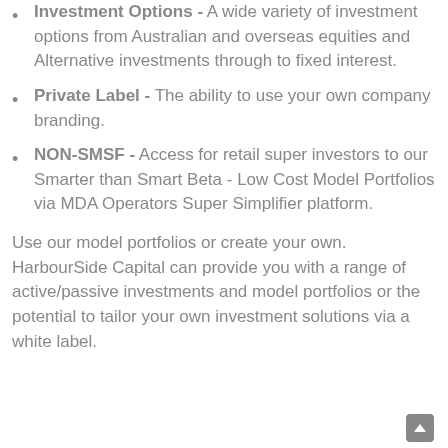Investment Options - A wide variety of investment options from Australian and overseas equities and Alternative investments through to fixed interest.
Private Label - The ability to use your own company branding.
NON-SMSF - Access for retail super investors to our Smarter than Smart Beta - Low Cost Model Portfolios via MDA Operators Super Simplifier platform.
Use our model portfolios or create your own. HarbourSide Capital can provide you with a range of active/passive investments and model portfolios or the potential to tailor your own investment solutions via a white label.